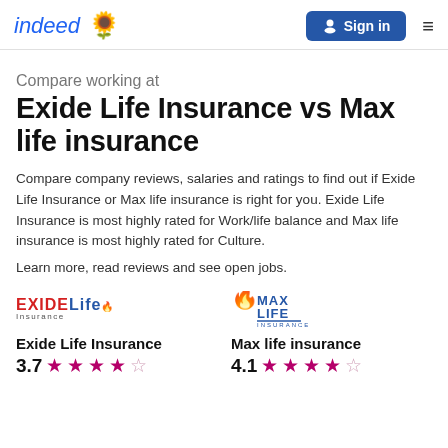indeed [sunflower] Sign in [menu]
Compare working at
Exide Life Insurance vs Max life insurance
Compare company reviews, salaries and ratings to find out if Exide Life Insurance or Max life insurance is right for you. Exide Life Insurance is most highly rated for Work/life balance and Max life insurance is most highly rated for Culture.
Learn more, read reviews and see open jobs.
[Figure (logo): Exide Life Insurance logo]
[Figure (logo): Max Life Insurance logo]
Exide Life Insurance
3.7 ★★★★☆
Max life insurance
4.1 ★★★★½